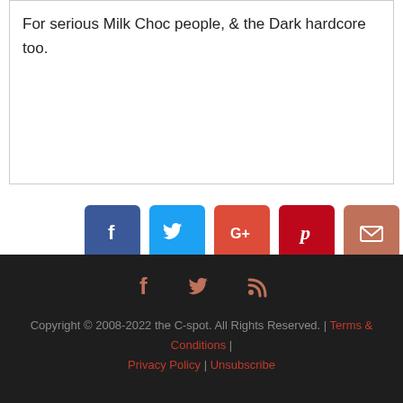For serious Milk Choc people, & the Dark hardcore too.
[Figure (infographic): Row of 6 social sharing buttons: Facebook (blue), Twitter (light blue), Google+ (orange-red), Pinterest (red), Email (salmon), Heart/Love (coral-red)]
[Figure (infographic): Footer social icons: Facebook (dark salmon), Twitter (dark salmon), RSS feed (dark salmon)]
Copyright © 2008-2022 the C-spot. All Rights Reserved. | Terms & Conditions | Privacy Policy | Unsubscribe